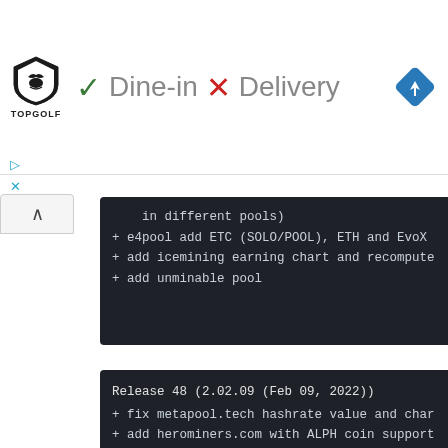[Figure (screenshot): Top ad bar showing Topgolf logo with Dine-in checkmark and Delivery X mark, plus blue navigation diamond icon]
in different pools)
+ e4pool add ETC (SOLO/POOL), ETH and EvoX
+ add icemining earning chart and recompute
+ add unminable pool
Release 48 (2.02.09 (Feb 09, 2022))
+ fix metapool.tech hashrate value and char
+ add herominers.com with ALPH coin support
+ add poolflare.net (CFX, KDA)
+ rplant add Lozzax (LOZZ) and PulsarCoin (
  Coin price still not yet available for th
+ add icemining.ca with TON coin support
+ add moneroocean.stream pool (XMR)
+ add zpool.ca (automatic coin detection)